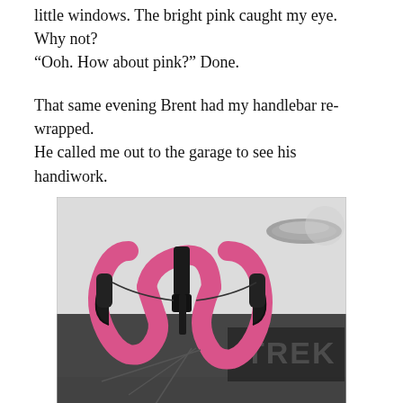little windows. The bright pink caught my eye. Why not? “Ooh. How about pink?” Done.
That same evening Brent had my handlebar re-wrapped. He called me out to the garage to see his handiwork.
[Figure (photo): Close-up photo of a Trek road bicycle handlebar wrapped in bright pink bar tape, with black brake levers and shifters, parked next to a white car door.]
Looking at the face of the tape rather than the edge, the